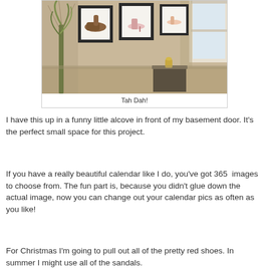[Figure (photo): Interior room photo showing a beige wall with three framed shoe pictures hung in a row, a tall plant/grass arrangement on the left, a window on the right, and a small decorative table in the corner.]
Tah Dah!
I have this up in a funny little alcove in front of my basement door.  It's the perfect small space for this project.
If you have a really beautiful calendar like I do, you've got 365  images to choose from.  The fun part is, because you didn't glue down the actual image, now you can change out your calendar pics as often as you like!
For Christmas I'm going to pull out all of the pretty red shoes.  In summer I might use all of the sandals.